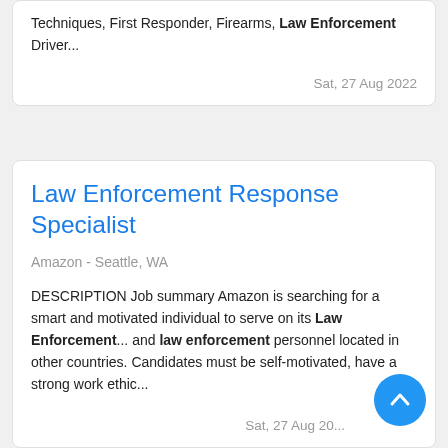Techniques, First Responder, Firearms, Law Enforcement Driver...
Sat, 27 Aug 2022
Law Enforcement Response Specialist
Amazon - Seattle, WA
DESCRIPTION Job summary Amazon is searching for a smart and motivated individual to serve on its Law Enforcement... and law enforcement personnel located in other countries. Candidates must be self-motivated, have a strong work ethic...
Sat, 27 Aug 20...